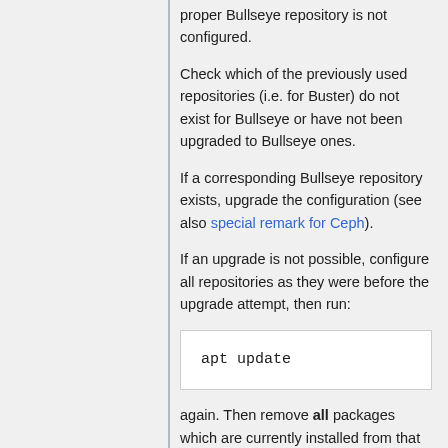proper Bullseye repository is not configured.
Check which of the previously used repositories (i.e. for Buster) do not exist for Bullseye or have not been upgraded to Bullseye ones.
If a corresponding Bullseye repository exists, upgrade the configuration (see also special remark for Ceph).
If an upgrade is not possible, configure all repositories as they were before the upgrade attempt, then run:
[Figure (screenshot): Code block showing: apt update]
again. Then remove all packages which are currently installed from that repository. Following this, start the upgrade procedure again.